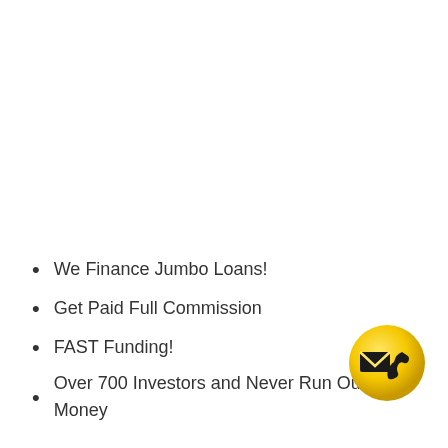We Finance Jumbo Loans!
Get Paid Full Commission
FAST Funding!
Over 700 Investors and Never Run Out Of Money
[Figure (illustration): Yellow circle icon with a dark envelope and phone receiver symbols]